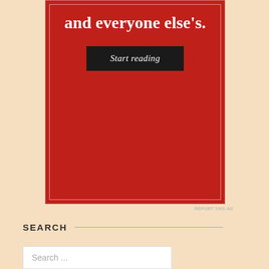[Figure (illustration): Red promotional banner/box with white text reading 'and everyone else's.' and a black 'Start reading' button on a beige background]
REPORT THIS AD
SEARCH
Search ...